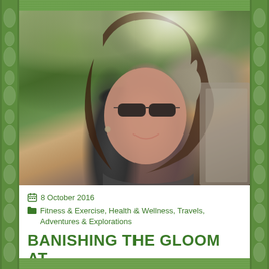[Figure (photo): A woman with long brown hair and dark sunglasses smiling outdoors, with green trees and stone structures in the background. The photo appears to be a selfie taken in bright sunlight.]
8 October 2016
Fitness & Exercise, Health & Wellness, Travels, Adventures & Explorations
BANISHING THE GLOOM AT